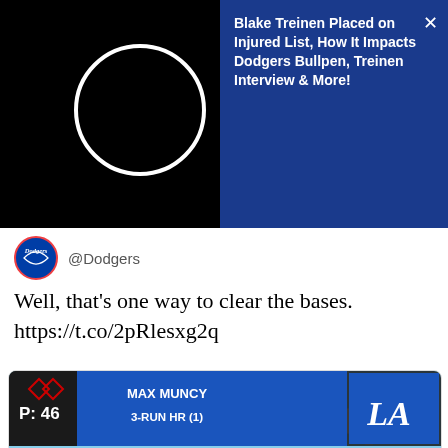[Figure (screenshot): Blue notification banner on dark background with text: Blake Treinen Placed on Injured List, How It Impacts Dodgers Bullpen, Treinen Interview & More! with a close (X) button]
@Dodgers
Well, that's one way to clear the bases. https://t.co/2pRlesxg2q
[Figure (screenshot): Baseball broadcast screenshot showing MAX MUNCY 3-RUN HR (1) graphic overlay with Dodgers LA logo, P: 46, and a player celebrating against a blue sky with a blimp visible]